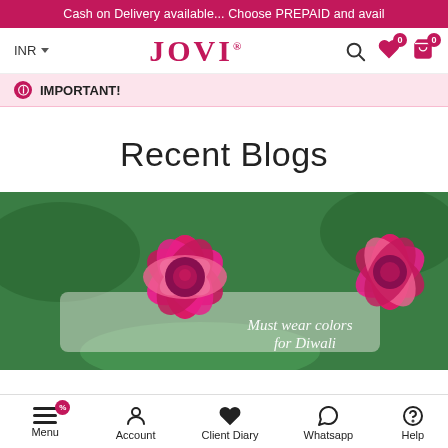Cash on Delivery available... Choose PREPAID and avail
[Figure (screenshot): JOVI brand logo and navigation bar with INR currency selector, search icon, wishlist icon with 0 badge, and cart icon with 0 badge]
IMPORTANT!
Recent Blogs
[Figure (photo): Close-up photo of hot pink/magenta fabric flowers with green leaves in background, with overlay text 'Must wear colors for Diwali']
Menu  Account  Client Diary  Whatsapp  Help